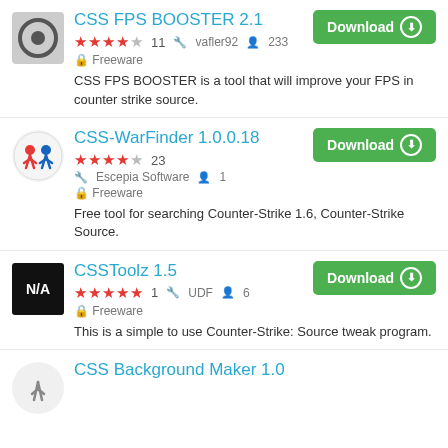CSS FPS BOOSTER 2.1 — ★★★★☆ 11 | vafler92 | 233 users | Freeware | Download — CSS FPS BOOSTER is a tool that will improve your FPS in counter strike source.
CSS-WarFinder 1.0.0.18 — ★★★★☆ 23 | Escepia Software | 1 user | Freeware | Download — Free tool for searching Counter-Strike 1.6, Counter-Strike Source.
CSSToolz 1.5 — ★★★★★ 1 | UDF | 6 users | Freeware | Download — This is a simple to use Counter-Strike: Source tweak program.
CSS Background Maker 1.0